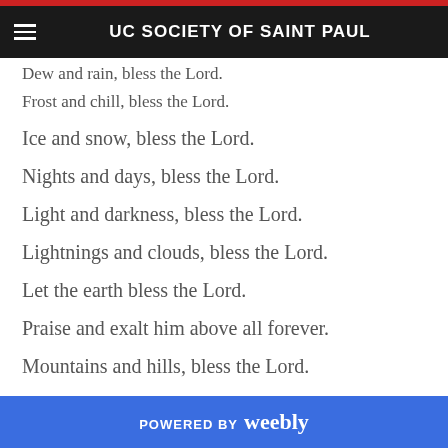UC SOCIETY OF SAINT PAUL
Dew and rain, bless the Lord.
Frost and chill, bless the Lord.
Ice and snow, bless the Lord.
Nights and days, bless the Lord.
Light and darkness, bless the Lord.
Lightnings and clouds, bless the Lord.
Let the earth bless the Lord.
Praise and exalt him above all forever.
Mountains and hills, bless the Lord.
POWERED BY weebly